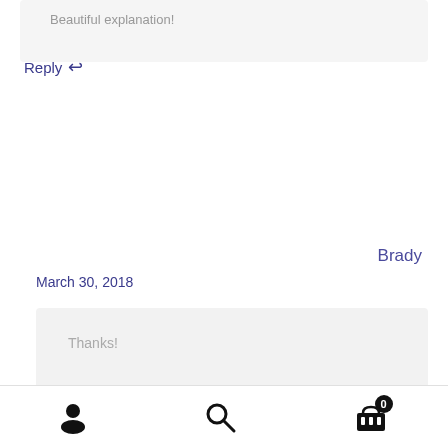Beautiful explanation!
Reply ↩
Brady
March 30, 2018
Thanks!
Reply ↩